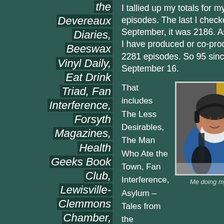the Devereaux Diaries, Beeswax Vinyl Daily, Eat Drink Triad, Fan Interference, Forsyth Magazines, Health Geeks Book Club, Lewisville-Clemmons Chamber, Nailing It with Blue Jean and
I tallied up my totals for my podcast episodes. The last I checked, in September, it was 2186. As of today, I have produced or co-produced 2281 episodes. So 95 since September 16.
That includes The Less Desirables, The Man Who Ate the Town, Fan Interference, Asylum – Tales from the Devereaux Diaries, Beeswax Vinyl Daily, and Wheelers Dog (the
[Figure (photo): A bearded man wearing headphones and a blue shirt, sitting in front of a microphone, looking upward. Studio/podcast recording setting with yellow background.]
Me doing my thing…